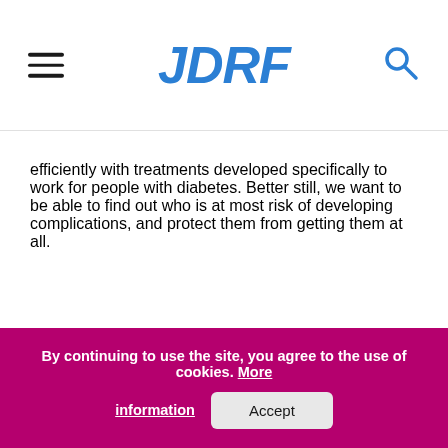JDRF
efficiently with treatments developed specifically to work for people with diabetes. Better still, we want to be able to find out who is at most risk of developing complications, and protect them from getting them at all.
Find out more about our complications research.
Sign up for research updates
By continuing to use the site, you agree to the use of cookies. More information  Accept